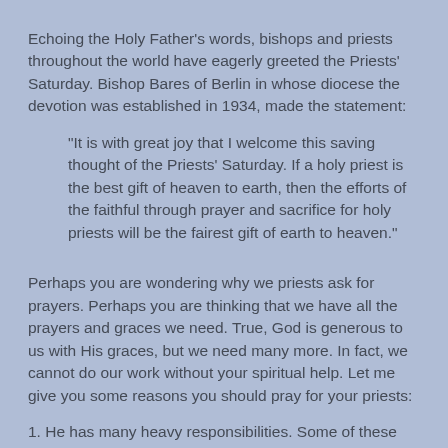Echoing the Holy Father's words, bishops and priests throughout the world have eagerly greeted the Priests' Saturday. Bishop Bares of Berlin in whose diocese the devotion was established in 1934, made the statement:
"It is with great joy that I welcome this saving thought of the Priests' Saturday. If a holy priest is the best gift of heaven to earth, then the efforts of the faithful through prayer and sacrifice for holy priests will be the fairest gift of earth to heaven."
Perhaps you are wondering why we priests ask for prayers. Perhaps you are thinking that we have all the prayers and graces we need. True, God is generous to us with His graces, but we need many more. In fact, we cannot do our work without your spiritual help. Let me give you some reasons you should pray for your priests:
1. He has many heavy responsibilities. Some of these are financial, some are spiritual. In the confessional, for